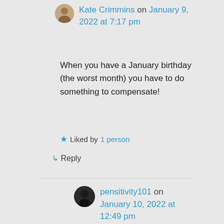Kate Crimmins on January 9, 2022 at 7:17 pm
When you have a January birthday (the worst month) you have to do something to compensate!
Liked by 1 person
Reply
pensitivity101 on January 10, 2022 at 12:49 pm
I celebrated my 50th and our 15th